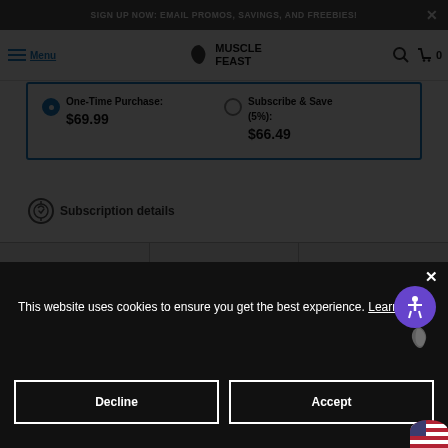SIGN UP NOW: EMAIL PROMOS, SAVINGS, AND FREEBIES!
[Figure (logo): Muscle Feast logo with leaf icon and text MUSCLE FEAST]
One-Time Purchase: $69.99
Subscribe & Save (5%): $66.49
Subscription details
This website uses cookies to ensure you get the best experience. Learn more
Decline
Accept